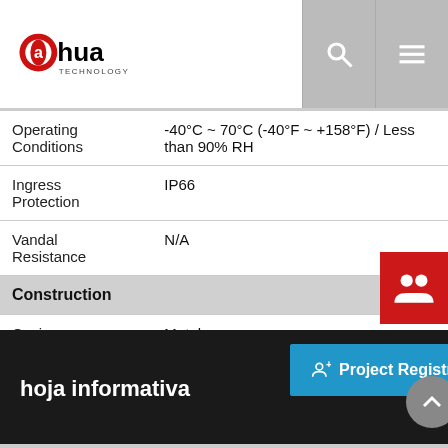Dahua Technology logo header with search and menu icons
| Feature | Value |
| --- | --- |
| Operating Conditions | -40°C ~ 70°C (-40°F ~ +158°F) / Less than 90% RH |
| Ingress Protection | IP66 |
| Vandal Resistance | N/A |
| Construction |  |
| Casing | Metal |
| Dimensions | Φ186.0(mm) x 309(mm) |
| Net Weight | 3.9kg(8.60lb) |
| Gross Weight | 7.2kg(15.87lb) |
hoja informativa
Project Registration